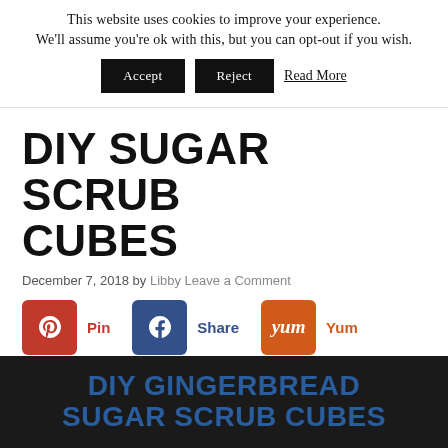This website uses cookies to improve your experience. We'll assume you're ok with this, but you can opt-out if you wish. Accept Reject Read More
DIY SUGAR SCRUB CUBES
December 7, 2018 by Libby Leave a Comment
[Figure (infographic): Social sharing buttons: Pinterest (Pin), Facebook (Share), Yummly (Yum), Twitter (Tweet)]
DIY GINGERBREAD SUGAR SCRUB CUBES